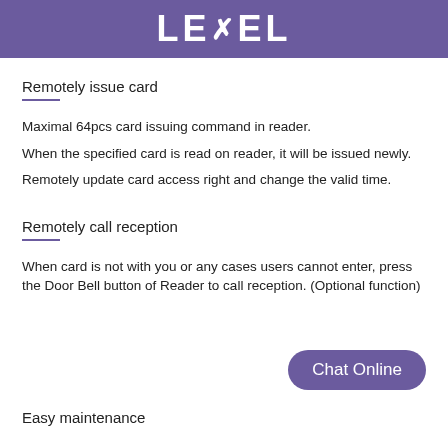LEVEL
Remotely issue card
Maximal 64pcs card issuing command in reader.
When the specified card is read on reader, it will be issued newly.
Remotely update card access right and change the valid time.
Remotely call reception
When card is not with you or any cases users cannot enter, press the Door Bell button of Reader to call reception. (Optional function)
Chat Online
Easy maintenance